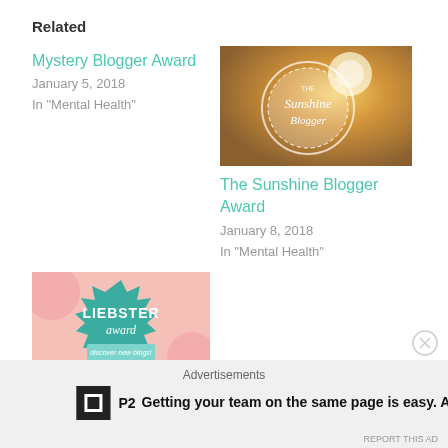Related
Mystery Blogger Award
January 5, 2018
In "Mental Health"
[Figure (photo): Sunshine Blogger Award badge on golden bokeh background]
The Sunshine Blogger Award
January 8, 2018
In "Mental Health"
[Figure (photo): Liebster Award badge - teal starburst shape with text 'LIEBSTER award discover new blogs!']
The Liebster Award
December 20, 2017
Advertisements
Getting your team on the same page is easy. And free.